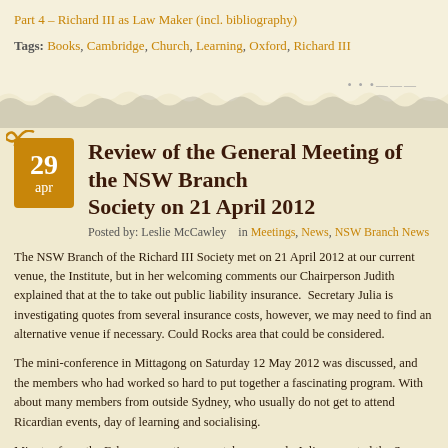Part 4 – Richard III as Law Maker (incl. bibliography)
Tags: Books, Cambridge, Church, Learning, Oxford, Richard III
Review of the General Meeting of the NSW Branch Society on 21 April 2012
Posted by: Leslie McCawley   in Meetings, News, NSW Branch News
The NSW Branch of the Richard III Society met on 21 April 2012 at our current venue, the Institute, but in her welcoming comments our Chairperson Judith explained that at the to take out public liability insurance.  Secretary Julia is investigating quotes from several insurance costs, however, we may need to find an alternative venue if necessary. Rocks area that could be considered.
The mini-conference in Mittagong on Saturday 12 May 2012 was discussed, and the members who had worked so hard to put together a fascinating program. With about many members from outside Sydney, who usually do not get to attend Ricardian events, day of learning and socialising.
Minutes from the February meeting were taken as read.  Julia presented the Secretary on behalf of Treasurer Judy who is in the UK. Dorothea presented the Webmaster report branch is financially sound and the branch website at www.richard-III.nsw.org.au visitors. Just a reminder that it could always use more creative input from members.